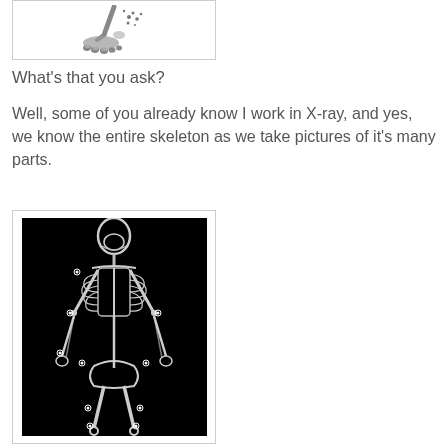[Figure (illustration): Cartoon illustration of a foot/skeleton foot with small bones/particles scattered around it]
What's that you ask?
Well, some of you already know I work in X-ray, and yes, we know the entire skeleton as we take pictures of it's many parts.
[Figure (photo): X-ray image of a full human skeleton on black background, showing bones with annotated markers at various joints]